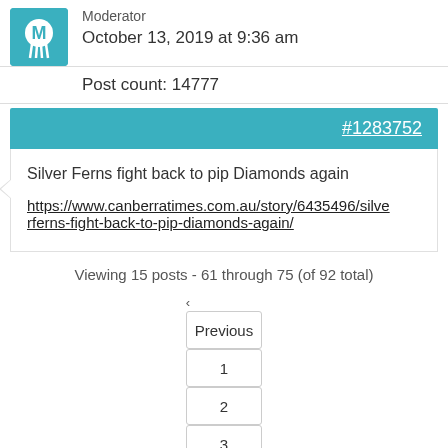[Figure (logo): Teal square logo with a horse silhouette and letter M]
Moderator
October 13, 2019 at 9:36 am
Post count: 14777
#1283752
Silver Ferns fight back to pip Diamonds again
https://www.canberratimes.com.au/story/6435496/silver-ferns-fight-back-to-pip-diamonds-again/
Viewing 15 posts - 61 through 75 (of 92 total)
‹ Previous 1 2 3 4 5 6 Next ›